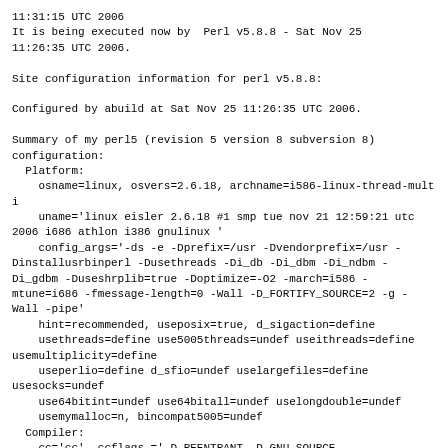11:31:15 UTC 2006
It is being executed now by  Perl v5.8.8 - Sat Nov 25
11:26:35 UTC 2006.

Site configuration information for perl v5.8.8:

Configured by abuild at Sat Nov 25 11:26:35 UTC 2006.

Summary of my perl5 (revision 5 version 8 subversion 8)
configuration:
  Platform:
    osname=linux, osvers=2.6.18, archname=i586-linux-thread-multi
    uname='linux eisler 2.6.18 #1 smp tue nov 21 12:59:21 utc 2006 i686 athlon i386 gnulinux '
    config_args='-ds -e -Dprefix=/usr -Dvendorprefix=/usr -Dinstallusrbinperl -Dusethreads -Di_db -Di_dbm -Di_ndbm -Di_gdbm -Duseshrplib=true -Doptimize=-O2 -march=i586 -mtune=i686 -fmessage-length=0 -Wall -D_FORTIFY_SOURCE=2 -g -Wall -pipe'
    hint=recommended, useposix=true, d_sigaction=define
    usethreads=define use5005threads=undef useithreads=define usemultiplicity=define
    useperlio=define d_sfio=undef uselargefiles=define usesocks=undef
    use64bitint=undef use64bitall=undef uselongdouble=undef
    usemymalloc=n, bincompat5005=undef
  Compiler:
    cc='cc', ccflags ='-D_REENTRANT -D_GNU_SOURCE -DTHREADS_HAVE_PIDS -DDEBUGGING -fno-strict-aliasing -pipe -Wdeclaration-after-statement -D_LARGEFILE_SOURCE -D_FILE_OFFSET_BITS=64',